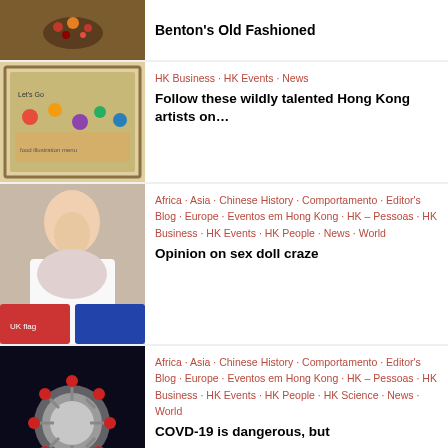Benton's Old Fashioned
HK Business · HK Events · News
Follow these wildly talented Hong Kong artists on…
Africa · Asia · Chinese History · Comportamento · Editor's Blog · Europe · Eventos em Hong Kong · HK – Pessoas · HK Business · HK Events · HK People · News · World
Opinion on sex doll craze
Africa · Asia · Chinese History · Comportamento · Editor's Blog · Europe · Eventos em Hong Kong · HK – Pessoas · HK Business · HK Events · HK People · HK Science · News · World
COVD-19 is dangerous, but survivable (Oped)
Africa · Asia · Chinese History ·